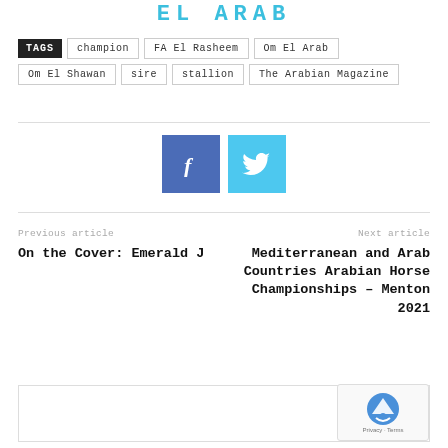EL ARAB
TAGS: champion | FA El Rasheem | Om El Arab | Om El Shawan | sire | stallion | The Arabian Magazine
[Figure (other): Facebook and Twitter social share buttons]
Previous article
On the Cover: Emerald J
Next article
Mediterranean and Arab Countries Arabian Horse Championships – Menton 2021